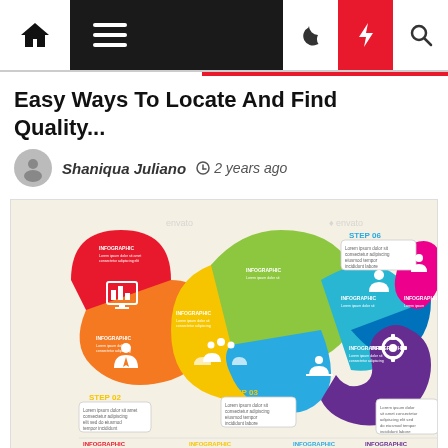Navigation bar with home, menu, moon, bolt, search icons
Easy Ways To Locate And Find Quality...
Shaniqua Juliano  2 years ago
[Figure (infographic): A winding road/path infographic showing steps (STEP 02, STEP 03, STEP 06, STEP 07) with colored segments (red, orange, yellow, green, teal, blue, purple, pink) forming an S-curve. Each segment contains icons and INFOGRAPHIC labels. Bottom shows four INFOGRAPHIC text columns. Watermarked with 'envato'.]
Dentist